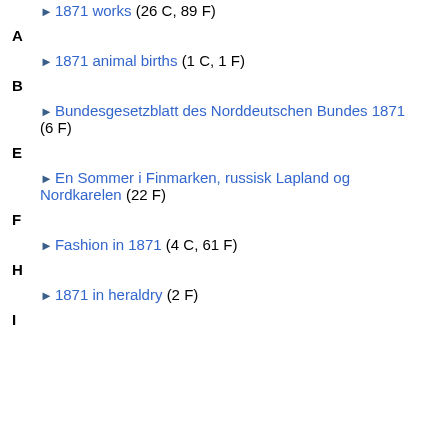► 1871 works (26 C, 89 F)
A
► 1871 animal births (1 C, 1 F)
B
► Bundesgesetzblatt des Norddeutschen Bundes 1871 (6 F)
E
► En Sommer i Finmarken, russisk Lapland og Nordkarelen (22 F)
F
► Fashion in 1871 (4 C, 61 F)
H
► 1871 in heraldry (2 F)
I